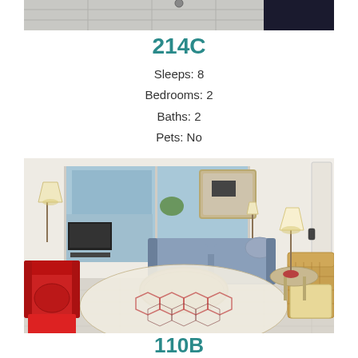[Figure (photo): Top portion of a room photo showing tiled floor and dark wall/furniture]
214C
Sleeps: 8
Bedrooms: 2
Baths: 2
Pets: No
[Figure (photo): Interior living room photo with red armchairs, blue sofa, round coffee table, hexagonal patterned rug, sliding glass doors to balcony, TV, lamps, and wicker chair]
110B